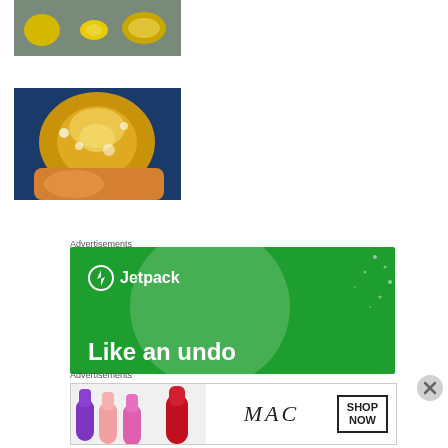[Figure (photo): Photo of lemons and lemon halves on a metallic surface with some powder or sugar]
[Figure (photo): Close-up photo of a hand holding a lemon being scrubbed with salt or sugar, white foam visible]
Advertisements
[Figure (illustration): Jetpack advertisement on green background with large circle shape, text reading 'Like an undo button for...' and Jetpack logo with lightning bolt icon]
Advertisements
[Figure (photo): MAC cosmetics advertisement showing colorful lipsticks and MAC logo with SHOP NOW button]